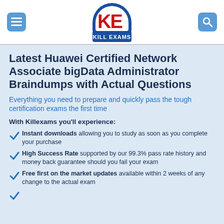[Figure (logo): Kill Exams logo — red KE letters inside a blue arch shape above a blue banner reading KILL EXAMS]
Latest Huawei Certified Network Associate bigData Administrator Braindumps with Actual Questions
Everything you need to prepare and quickly pass the tough certification exams the first time
With Killexams you'll experience:
Instant downloads allowing you to study as soon as you complete your purchase
High Success Rate supported by our 99.3% pass rate history and money back guarantee should you fail your exam
Free first on the market updates available within 2 weeks of any change to the actual exam